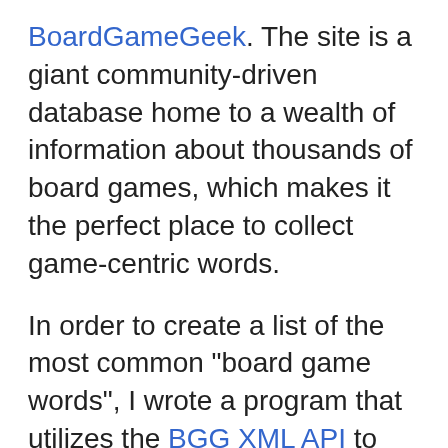BoardGameGeek. The site is a giant community-driven database home to a wealth of information about thousands of board games, which makes it the perfect place to collect game-centric words.
In order to create a list of the most common "board game words", I wrote a program that utilizes the BGG XML API to access descriptions from a large sample of board games in the database. The program then parsed the descriptions into their individual words, removed punctuation, converted all letters to